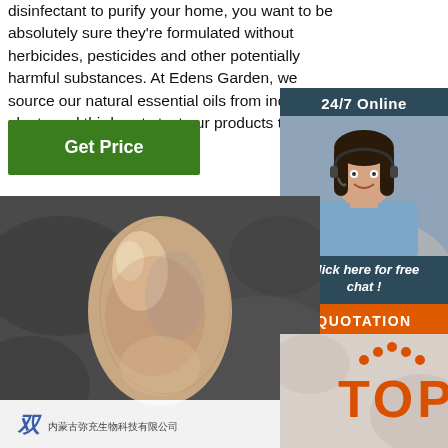disinfectant to purify your home, you want to be absolutely sure they're formulated without herbicides, pesticides and other potentially harmful substances. At Edens Garden, we source our natural essential oils from indigenous plants and third-party test our products to ensure ...
[Figure (other): Green 'Get Price' button]
[Figure (other): Sidebar panel with '24/7 Online' header, customer service representative photo, 'Click here for free chat!' text, and orange QUOTATION button]
[Figure (photo): Close-up photo of a shiny egg-shaped object on dark background, with company watermark/logo at bottom]
[Figure (other): Bottom-right panel with orange dotted TOP badge/watermark]